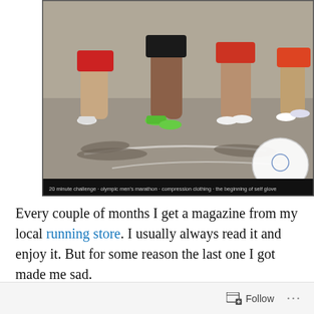[Figure (photo): A photograph showing the legs and lower bodies of multiple runners in a race, wearing colorful shorts and running shoes, with shadows on the pavement. A white plate or disc is visible in the lower right. A black caption bar at the bottom reads: '20 minute challenge - olympic men's marathon - compression clothing - the beginning of self glove']
Every couple of months I get a magazine from my local running store. I usually always read it and enjoy it. But for some reason the last one I got made me sad.

I haven't run since May. May! That seems like a really long time. I guess it is a long time – four months. I stopped
Follow ...